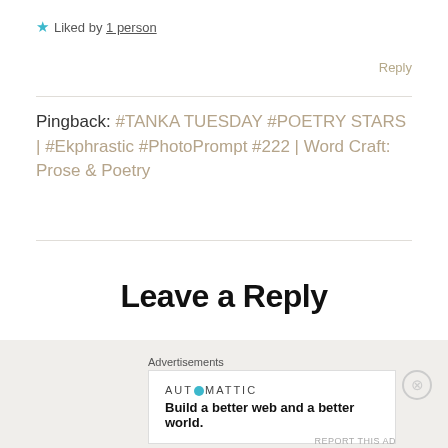★ Liked by 1 person
Reply
Pingback: #TANKA TUESDAY #POETRY STARS | #Ekphrastic #PhotoPrompt #222 | Word Craft: Prose & Poetry
Leave a Reply
Your email address will not be published. Required fields
Advertisements
AUTOMATTIC
Build a better web and a better world.